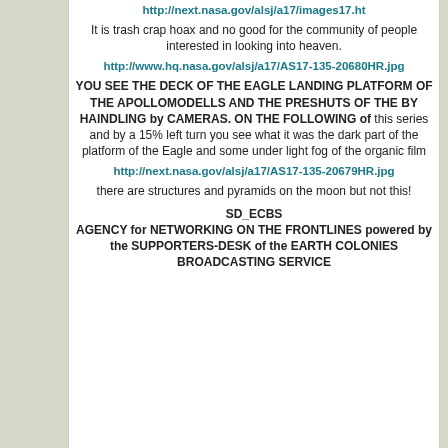http://next.nasa.gov/alsj/a17/images17.ht
It is trash crap hoax and no good for the community of people interested in looking into heaven.
http://www.hq.nasa.gov/alsj/a17/AS17-135-20680HR.jpg
YOU SEE THE DECK OF THE EAGLE LANDING PLATFORM OF THE APOLLOMODELLS AND THE PRESHUTS OF THE BY HAINDLING by CAMERAS. ON THE FOLLOWING of this series and by a 15% left turn you see what it was the dark part of the platform of the Eagle and some under light fog of the organic film
http://next.nasa.gov/alsj/a17/AS17-135-20679HR.jpg
there are structures and pyramids on the moon but not this!
SD_ECBS
AGENCY for NETWORKING ON THE FRONTLINES powered by the SUPPORTERS-DESK of the EARTH COLONIES BROADCASTING SERVICE